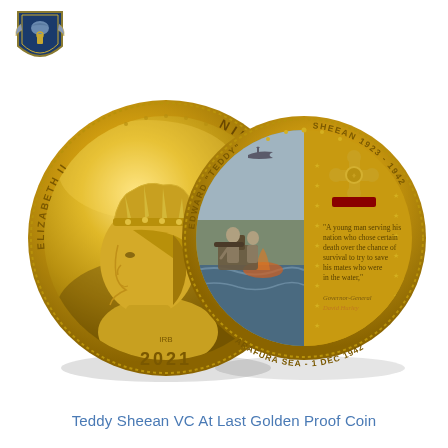[Figure (illustration): Shield/badge logo in blue and gold in top-left corner]
[Figure (photo): Two gold proof coins side by side. Left coin shows Queen Elizabeth II profile with text ELIZABETH II, NIUE, TWO DOLLARS, IRB, 2021. Right coin shows colorized scene of WWII naval scene with Edward 'Teddy' Sheean, Victoria Cross medal, inscription EDWARD 'TEDDY' SHEEAN 1923-1942, ARAFURA SEA - 1 DEC 1942, and a quote about a young man serving his nation.]
Teddy Sheean VC At Last Golden Proof Coin